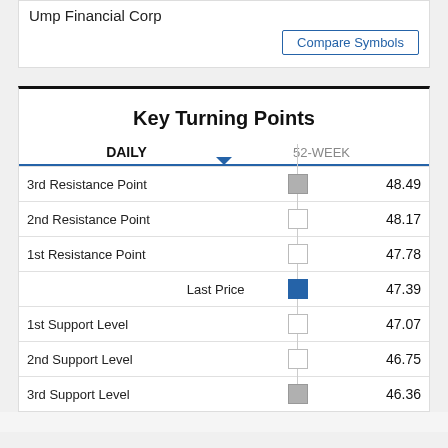Ump Financial Corp
Compare Symbols
Key Turning Points
DAILY   52-WEEK
| Label | Indicator | Value |
| --- | --- | --- |
| 3rd Resistance Point | gray box | 48.49 |
| 2nd Resistance Point | white box | 48.17 |
| 1st Resistance Point | white box | 47.78 |
| Last Price | blue box | 47.39 |
| 1st Support Level | white box | 47.07 |
| 2nd Support Level | white box | 46.75 |
| 3rd Support Level | gray box | 46.36 |